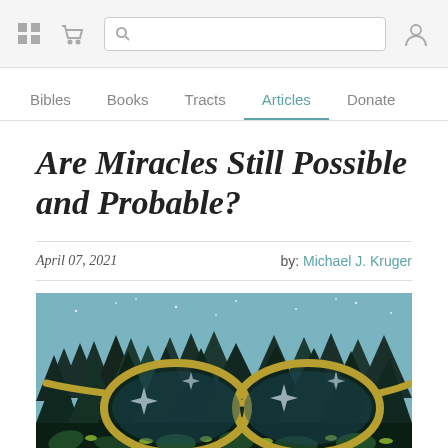Navigation bar with grid icon, cart icon, search box, and user icon
Bibles | Books | Tracts | Articles (active) | Donate
Are Miracles Still Possible and Probable?
April 07, 2021   by: Michael J. Kruger
[Figure (illustration): Illustration of pine forest at night with stars and a pair of gold-rimmed glasses in the foreground, reflecting sparkle/star shapes]